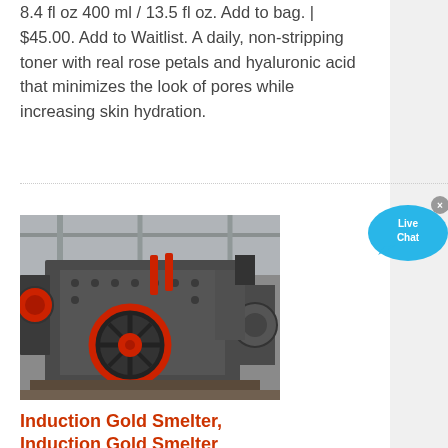8.4 fl oz 400 ml / 13.5 fl oz. Add to bag. | $45.00. Add to Waitlist. A daily, non-stripping toner with real rose petals and hyaluronic acid that minimizes the look of pores while increasing skin hydration.
[Figure (photo): Industrial crushing or milling machine (large grey machine with red circular wheel/flywheel) sitting in a factory or warehouse setting]
Induction Gold Smelter, Induction Gold Smelter